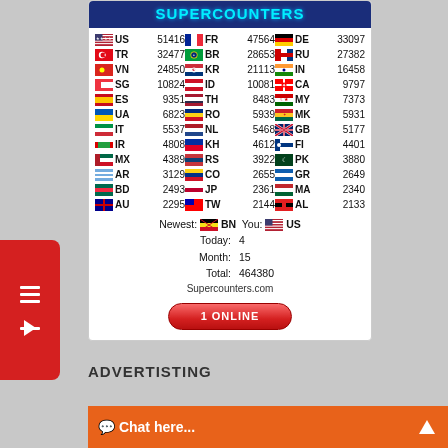[Figure (other): Supercounters widget header with blue background and cyan text logo]
| Flag | Code | Count | Flag | Code | Count | Flag | Code | Count |
| --- | --- | --- | --- | --- | --- | --- | --- | --- |
| 🇺🇸 | US | 51416 | 🇫🇷 | FR | 47564 | 🇩🇪 | DE | 33097 |
| 🇹🇷 | TR | 32477 | 🇧🇷 | BR | 28653 | 🇷🇺 | RU | 27382 |
| 🇻🇳 | VN | 24850 | 🇰🇷 | KR | 21113 | 🇮🇳 | IN | 16458 |
| 🇸🇬 | SG | 10824 | 🇮🇩 | ID | 10081 | 🇨🇦 | CA | 9797 |
| 🇪🇸 | ES | 9351 | 🇹🇭 | TH | 8483 | 🇲🇾 | MY | 7373 |
| 🇺🇦 | UA | 6823 | 🇷🇴 | RO | 5939 | 🇲🇰 | MK | 5931 |
| 🇮🇹 | IT | 5537 | 🇳🇱 | NL | 5468 | 🇬🇧 | GB | 5177 |
| 🇮🇷 | IR | 4808 | 🇰🇭 | KH | 4612 | 🇫🇮 | FI | 4401 |
| 🇲🇽 | MX | 4389 | 🇷🇸 | RS | 3922 | 🇵🇰 | PK | 3880 |
| 🇦🇷 | AR | 3129 | 🇨🇴 | CO | 2655 | 🇬🇷 | GR | 2649 |
| 🇧🇩 | BD | 2493 | 🇯🇵 | JP | 2361 | 🇲🇦 | MA | 2340 |
| 🇦🇺 | AU | 2295 | 🇹🇼 | TW | 2144 | 🇦🇱 | AL | 2133 |
Newest: BN You: US
Today: 4
Month: 15
Total: 464380
Supercounters.com
1 ONLINE
ADVERTISTING
Chat here...